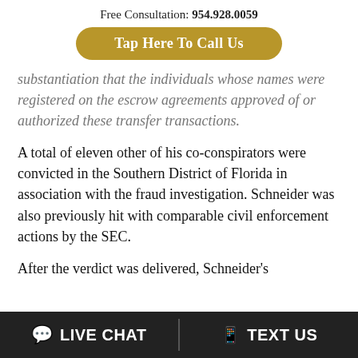Free Consultation: 954.928.0059
Tap Here To Call Us
substantiation that the individuals whose names were registered on the escrow agreements approved of or authorized these transfer transactions.
A total of eleven other of his co-conspirators were convicted in the Southern District of Florida in association with the fraud investigation. Schneider was also previously hit with comparable civil enforcement actions by the SEC.
After the verdict was delivered, Schneider's
LIVE CHAT   TEXT US